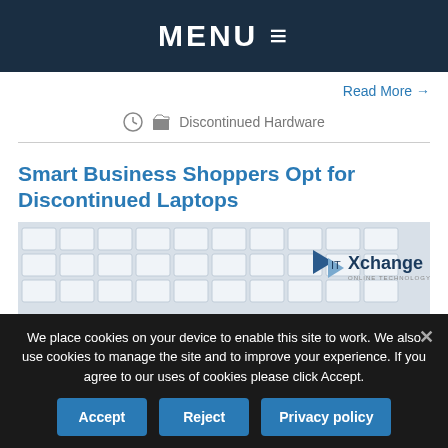MENU ≡
Read More →
Discontinued Hardware
Smart Business Shoppers Opt for Discontinued Laptops
[Figure (photo): Laptop keyboard close-up with ITXchange logo overlay]
We place cookies on your device to enable this site to work. We also use cookies to manage the site and to improve your experience. If you agree to our uses of cookies please click Accept.